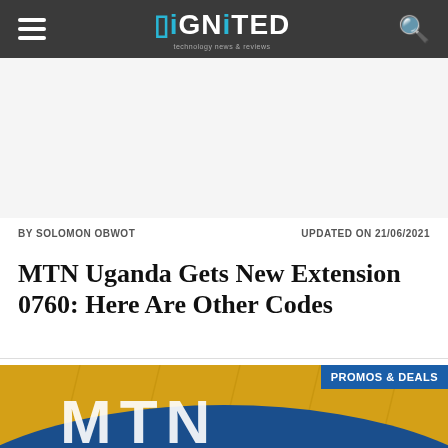DiGNiTED
BY SOLOMON OBWOT    UPDATED ON 21/06/2021
MTN Uganda Gets New Extension 0760: Here Are Other Codes
[Figure (photo): MTN logo sign in yellow and blue, partial view from below showing MTN lettering in white on blue background with yellow upper portion]
PROMOS & DEALS